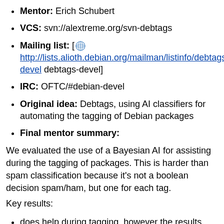Mentor: Erich Schubert
VCS: svn://alextreme.org/svn-debtags
Mailing list: [ http://lists.alioth.debian.org/mailman/listinfo/debtags-devel debtags-devel]
IRC: OFTC/#debian-devel
Original idea: Debtags, using AI classifiers for automating the tagging of Debian packages
Final mentor summary:
We evaluated the use of a Bayesian AI for assisting during the tagging of packages. This is harder than spam classification because it's not a boolean decision spam/ham, but one for each tag.
Key results:
does help during tagging, however the results